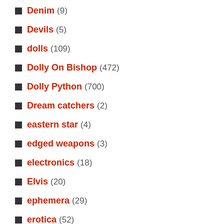Denim (9)
Devils (5)
dolls (109)
Dolly On Bishop (472)
Dolly Python (700)
Dream catchers (2)
eastern star (4)
edged weapons (3)
electronics (18)
Elvis (20)
ephemera (29)
erotica (52)
ethnic (11)
events (152)
fabric (20)
facinating reads (4)
Fetish (2)
film (2)
fire arms (3)
flags (13)
folk art (101)